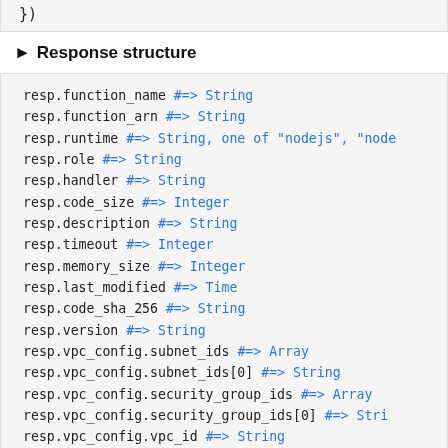})
► Response structure
resp.function_name #=> String
resp.function_arn #=> String
resp.runtime #=> String, one of "nodejs", "node...
resp.role #=> String
resp.handler #=> String
resp.code_size #=> Integer
resp.description #=> String
resp.timeout #=> Integer
resp.memory_size #=> Integer
resp.last_modified #=> Time
resp.code_sha_256 #=> String
resp.version #=> String
resp.vpc_config.subnet_ids #=> Array
resp.vpc_config.subnet_ids[0] #=> String
resp.vpc_config.security_group_ids #=> Array
resp.vpc_config.security_group_ids[0] #=> Stri...
resp.vpc_config.vpc_id #=> String
resp.dead_letter_config.target_arn #=> String
resp.environment.variables #=> Hash